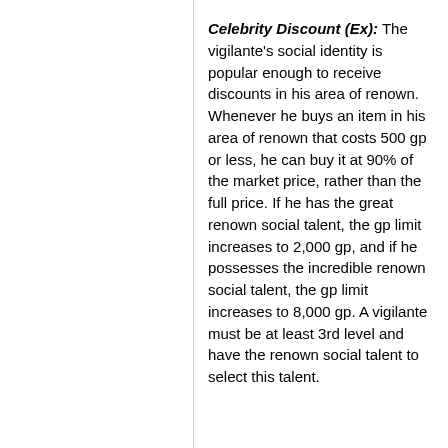Celebrity Discount (Ex): The vigilante's social identity is popular enough to receive discounts in his area of renown. Whenever he buys an item in his area of renown that costs 500 gp or less, he can buy it at 90% of the market price, rather than the full price. If he has the great renown social talent, the gp limit increases to 2,000 gp, and if he possesses the incredible renown social talent, the gp limit increases to 8,000 gp. A vigilante must be at least 3rd level and have the renown social talent to select this talent.